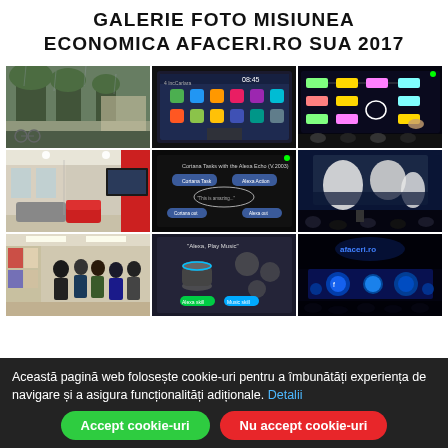GALERIE FOTO MISIUNEA ECONOMICA AFACERI.RO SUA 2017
[Figure (photo): 3x3 grid of photos from Misiunea Economica Afaceri.ro SUA 2017. Row 1: outdoor campus scene with trees and bicycles in rain; presentation screen showing app icons; dark screen with colorful diagram and hand pointing. Row 2: modern office interior with red chairs and large display; dark presentation slide with text; car interior technology presentation at conference. Row 3: hallway with people gathered; presentation slide about Alexa Play Music with smart devices; dark conference stage with blue lighting.]
Această pagină web folosește cookie-uri pentru a îmbunătăți experiența de navigare și a asigura funcționalități adiționale. Detalii
Accept cookie-uri
Nu accept cookie-uri